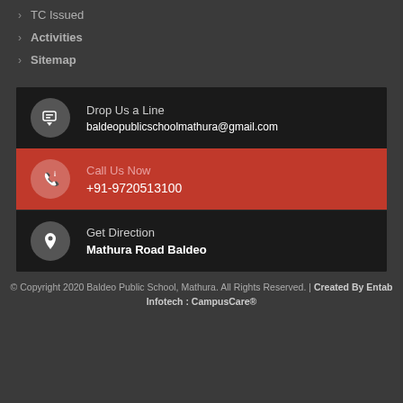TC Issued
Activities
Sitemap
Drop Us a Line
baldeopublicschoolmathura@gmail.com
Call Us Now
+91-9720513100
Get Direction
Mathura Road Baldeo
© Copyright 2020 Baldeo Public School, Mathura. All Rights Reserved. | Created By Entab Infotech : CampusCare®